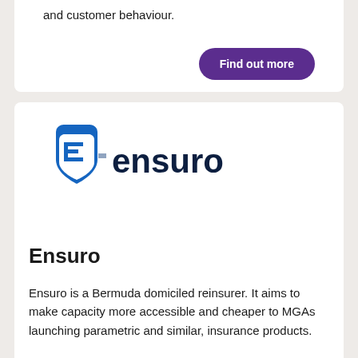and customer behaviour.
Find out more
[Figure (logo): Ensuro logo: blue shield icon with stylized 'E' and the word 'ensuro' in dark navy text]
Ensuro
Ensuro is a Bermuda domiciled reinsurer. It aims to make capacity more accessible and cheaper to MGAs launching parametric and similar, insurance products.